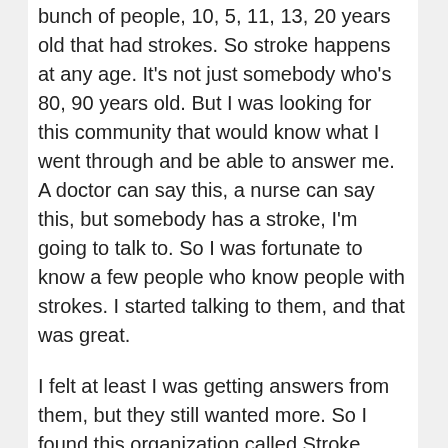bunch of people, 10, 5, 11, 13, 20 years old that had strokes. So stroke happens at any age. It's not just somebody who's 80, 90 years old. But I was looking for this community that would know what I went through and be able to answer me. A doctor can say this, a nurse can say this, but somebody has a stroke, I'm going to talk to. So I was fortunate to know a few people who know people with strokes. I started talking to them, and that was great.
I felt at least I was getting answers from them, but they still wanted more. So I found this organization called Stroke Survivors are Part of each other. And it was based in Illinois, where I am, where I live, I'm not there today, but where I live. And I called them actually, I think I sent an email and they called me and they reached out to me and I'm like, this is unbelievable. They're calling me and they talk to me about a group they had called Survivor to Survivor Telephone Support Group. When you talk to